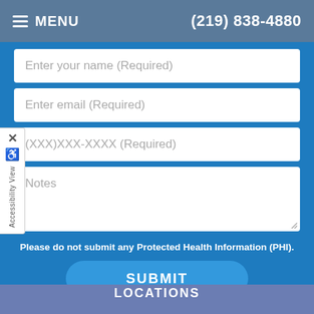MENU | (219) 838-4880
Enter your name (Required)
Enter email (Required)
(XXX)XXX-XXXX (Required)
Notes
Please do not submit any Protected Health Information (PHI).
SUBMIT
LOCATIONS
Find us on the map